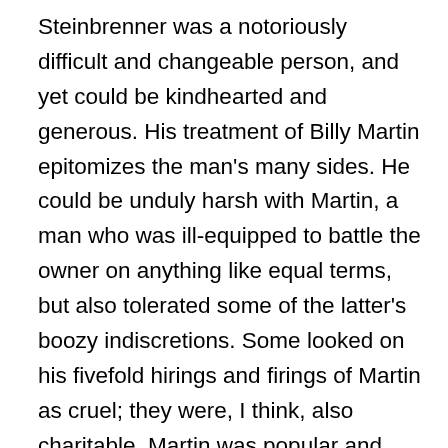Steinbrenner was a notoriously difficult and changeable person, and yet could be kindhearted and generous. His treatment of Billy Martin epitomizes the man's many sides. He could be unduly harsh with Martin, a man who was ill-equipped to battle the owner on anything like equal terms, but also tolerated some of the latter's boozy indiscretions. Some looked on his fivefold hirings and firings of Martin as cruel; they were, I think, also charitable. Martin was popular and effective, and Steinbrenner reaped benefits from both qualities, but he also employed and re-employed a man whose weaknesses made him untouchable to other organizations. When Martin burned his bridges in Oakland, that probably ended his chances with anyone except George Steinbrenner, but in spite of the frequent animosity between manager and owner, he always had a home with the Yankees.